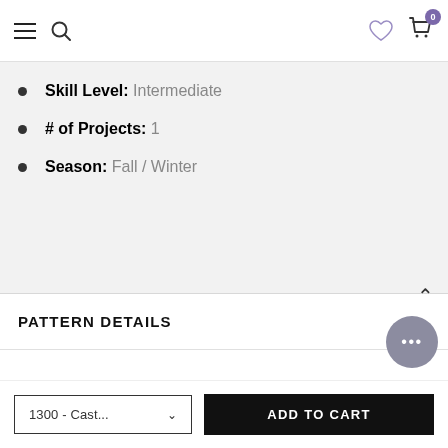Navigation bar with hamburger menu, search, heart/wishlist icon, and cart (0 items)
Skill Level: Intermediate
# of Projects: 1
Season: Fall / Winter
PATTERN DETAILS
1300 - Cast...
ADD TO CART